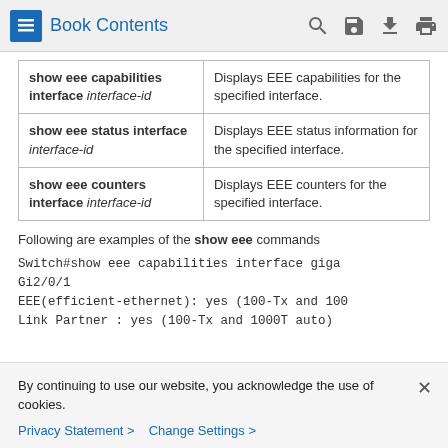Book Contents
| Command | Description |
| --- | --- |
| show eee capabilities interface interface-id | Displays EEE capabilities for the specified interface. |
| show eee status interface interface-id | Displays EEE status information for the specified interface. |
| show eee counters interface interface-id | Displays EEE counters for the specified interface. |
Following are examples of the show eee commands
Switch#show eee capabilities interface gigabitethernet
Gi2/0/1
EEE(efficient-ethernet): yes (100-Tx and 100...
Link Partner : yes (100-Tx and 1000T auto)
By continuing to use our website, you acknowledge the use of cookies.
Privacy Statement >   Change Settings >